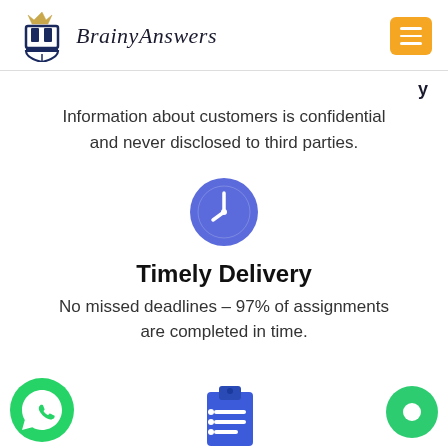BrainyAnswers
Information about customers is confidential and never disclosed to third parties.
[Figure (illustration): Blue circle clock icon]
Timely Delivery
No missed deadlines – 97% of assignments are completed in time.
[Figure (illustration): Green WhatsApp button icon on left, blue clipboard icon in center, green circle button on right]